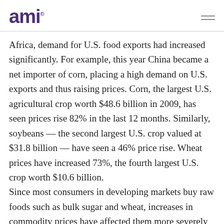ami
Africa, demand for U.S. food exports had increased significantly. For example, this year China became a net importer of corn, placing a high demand on U.S. exports and thus raising prices. Corn, the largest U.S. agricultural crop worth $48.6 billion in 2009, has seen prices rise 82% in the last 12 months. Similarly, soybeans — the second largest U.S. crop valued at $31.8 billion — have seen a 46% price rise. Wheat prices have increased 73%, the fourth largest U.S. crop worth $10.6 billion.
Since most consumers in developing markets buy raw foods such as bulk sugar and wheat, increases in commodity prices have affected them more severely than consumers in the developed world who buy…